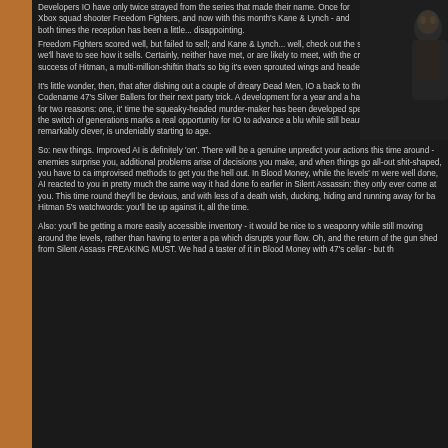[Figure (photo): A dark image of a bald figure, partially visible in the top right corner of the page]
Developers IO have only twice strayed from the series that made their name. Once for Xbox squad shooter Freedom Fighters, and now with this month's Kane & Lynch - and both times the reception has been a little... disappointing.
Freedom Fighters scored well, but failed to sell; and Kane & Lynch... well, check out the score on page 67 - and we'll have to see how it sells. Certainly, neither have met, or are likely to meet, with the critical and commercial success of Hitman, a multi-million-shifting that's so big it's even sprouted wings and headed for Hollywood.
It's little wonder, then, that after dishing out a couple of dreary Dead Men, IO a back to the security of Codename 47's Silver Ballers for their next party trick. A development for a year and a half, Hitman 5 is exciting for two reasons: one, it' time the squeaky-headed murder-maker has been developed specifically for ne two, the switch of generations marks a real opportunity for IO to advance a blu while still beautifully structured and remarkably clever, is undeniably starting to age.
So: new things. Improved AI is definitely 'on'. There will be a genuine unpredict your actions this time around - enemies surprise you, additional problems arise of decisions you make, and when things go all-out shit-shaped, you have to ca improvised methods to get you the hell out. In Blood Money, while the levels' m were well done, AI reacted to you in pretty much the same way it had done fo earlier in Silent Assassin: they only ever come at you. This time round they'll be devious, and with less of a death wish, ducking, hiding and running away for ba Hitman 5's watchwords: you'll be up against it, all the time.
Also: you'll be getting a more easily accessible inventory - it would be nice to s weaponry while still moving around the levels, rather than having to enter a pa which disrupts your flow. Oh, and the return of the gun shed from Silent Assass FREAKING MUST. We had a taster of it in Blood Money with 47's cellar - but th